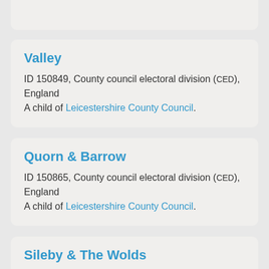Valley
ID 150849, County council electoral division (CED), England
A child of Leicestershire County Council.
Quorn & Barrow
ID 150865, County council electoral division (CED), England
A child of Leicestershire County Council.
Sileby & The Wolds
ID 150866, County council electoral division